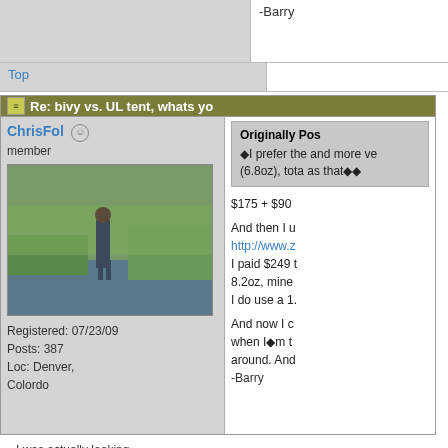-Barry
Top
Re: bivy vs. UL tent, whats yo
ChrisFol
member
[Figure (photo): User profile photo of ChrisFol showing a person standing by a stream or river with green grass and vegetation]
Registered: 07/23/09
Posts: 387
Loc: Denver, Colordo
Originally Pos
ÆI prefer the and more ve (6.8oz), tota as thatÆÆ

$175 + $90 

And then I u http://www.z I paid $249 t 8.2oz, mine I do use a 1.

And now I c when IÆm t around. And -Barry
I was actually looking concerned about it